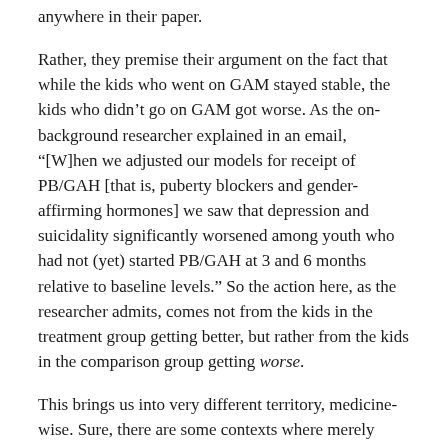anywhere in their paper.
Rather, they premise their argument on the fact that while the kids who went on GAM stayed stable, the kids who didn’t go on GAM got worse. As the on-background researcher explained in an email, “[W]hen we adjusted our models for receipt of PB/GAH [that is, puberty blockers and gender-affirming hormones] we saw that depression and suicidality significantly worsened among youth who had not (yet) started PB/GAH at 3 and 6 months relative to baseline levels.” So the action here, as the researcher admits, comes not from the kids in the treatment group getting better, but rather from the kids in the comparison group getting worse.
This brings us into very different territory, medicine-wise. Sure, there are some contexts where merely